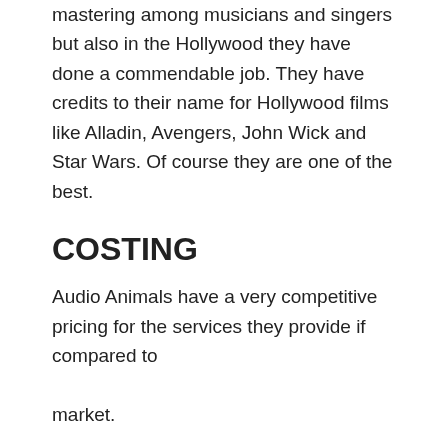mastering among musicians and singers but also in the Hollywood they have done a commendable job. They have credits to their name for Hollywood films like Alladin, Avengers, John Wick and Star Wars. Of course they are one of the best.
COSTING
Audio Animals have a very competitive pricing for the services they provide if compared to

market.
Mastering – $55
Stem mastering – $70
Mixing – $132
FORS
If you want Dolby Atmos, then Audio Animals are the best